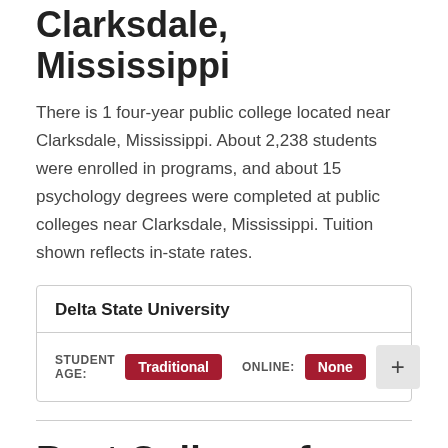Clarksdale, Mississippi
There is 1 four-year public college located near Clarksdale, Mississippi. About 2,238 students were enrolled in programs, and about 15 psychology degrees were completed at public colleges near Clarksdale, Mississippi. Tuition shown reflects in-state rates.
| Delta State University |
| STUDENT AGE: Traditional   ONLINE: None |
Best Colleges for Psychology Associate